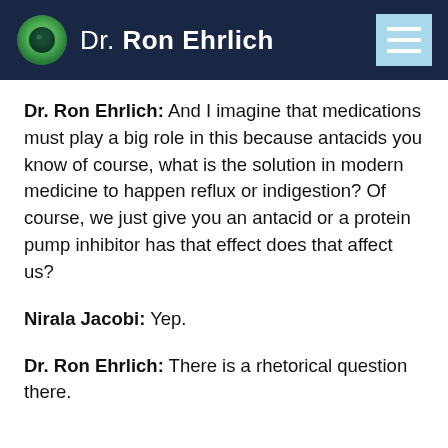Dr. Ron Ehrlich
Dr. Ron Ehrlich: And I imagine that medications must play a big role in this because antacids you know of course, what is the solution in modern medicine to happen reflux or indigestion? Of course, we just give you an antacid or a protein pump inhibitor has that effect does that affect us?
Nirala Jacobi: Yep.
Dr. Ron Ehrlich: There is a rhetorical question there.